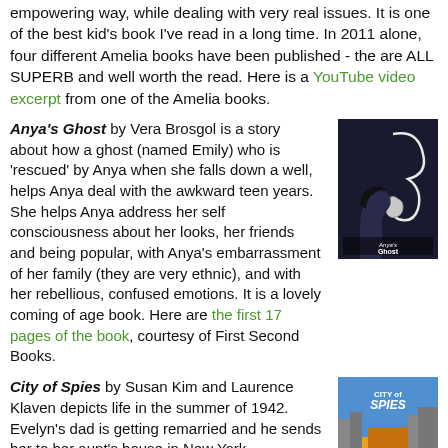empowering way, while dealing with very real issues. It is one of the best kid's book I've read in a long time. In 2011 alone, four different Amelia books have been published - the are ALL SUPERB and well worth the read. Here is a YouTube video excerpt from one of the Amelia books.
Anya's Ghost by Vera Brosgol is a story about how a ghost (named Emily) who is 'rescued' by Anya when she falls down a well, helps Anya deal with the awkward teen years. She helps Anya address her self consciousness about her looks, her friends and being popular, with Anya's embarrassment of her family (they are very ethnic), and with her rebellious, confused emotions. It is a lovely coming of age book. Here are the first 17 pages of the book, courtesy of First Second Books.
[Figure (illustration): Cover of Anya's Ghost book - dark cover with a ghost figure and a girl's profile silhouette]
City of Spies by Susan Kim and Laurence Klaven depicts life in the summer of 1942. Evelyn's dad is getting remarried and he sends her to her aunt's house in New York
[Figure (illustration): Cover of City of Spies book - colorful cover with city skyline and title text]